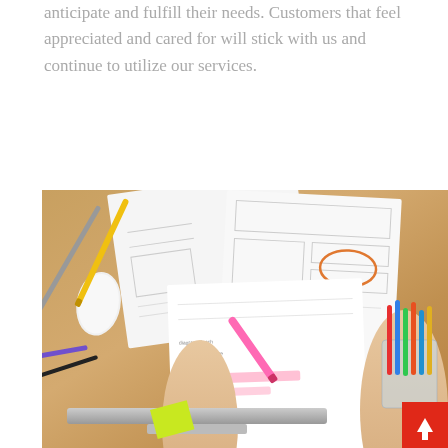anticipate and fulfill their needs. Customers that feel appreciated and cared for will stick with us and continue to utilize our services.
[Figure (photo): Overhead view of a desk workspace with a person's hands, a smartphone, white papers with wireframe sketches and annotations, a mouse, pens, colored markers in a holder, a monitor edge, and a sticky note. A red scroll-to-top button is visible in the lower right.]